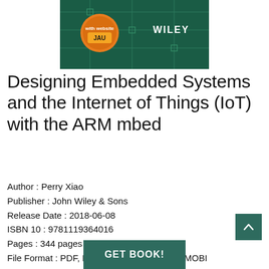[Figure (photo): Book cover of 'Designing Embedded Systems and the Internet of Things (IoT) with the ARM mbed' showing a green circuit board background with a Wiley logo and a circular badge.]
Designing Embedded Systems and the Internet of Things (IoT) with the ARM mbed
Author : Perry Xiao
Publisher : John Wiley & Sons
Release Date : 2018-06-08
ISBN 10 : 9781119364016
Pages : 344 pages
File Format : PDF, EPUB, TEXT, KINDLE or MOBI
Rating : 4.6/5 (364 users download)